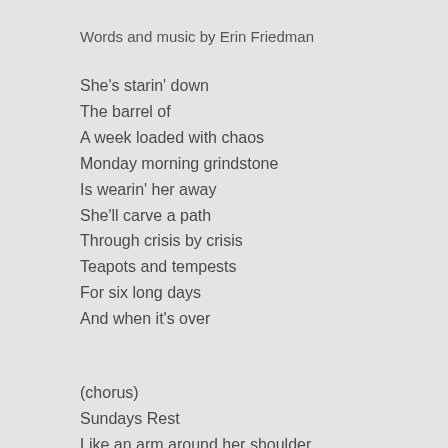Words and music by Erin Friedman
She's starin' down
The barrel of
A week loaded with chaos
Monday morning grindstone
Is wearin' her away
She'll carve a path
Through crisis by crisis
Teapots and tempests
For six long days
And when it's over
(chorus)
Sundays Rest
Like an arm around her shoulder
Like a summer rain
When the fields are dry